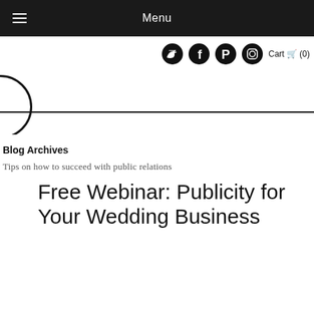Menu
[Figure (screenshot): Social media icons: Twitter, Facebook, Pinterest, Instagram, and Cart (0)]
[Figure (logo): Partial circle logo with horizontal dividing line]
Blog Archives
Tips on how to succeed with public relations
Free Webinar: Publicity for Your Wedding Business